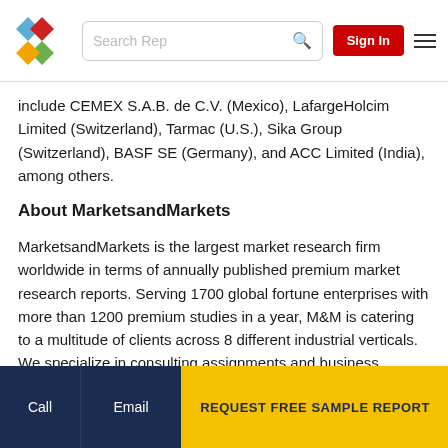Search Rep | Sign In
include CEMEX S.A.B. de C.V. (Mexico), LafargeHolcim Limited (Switzerland), Tarmac (U.S.), Sika Group (Switzerland), BASF SE (Germany), and ACC Limited (India), among others.
About MarketsandMarkets
MarketsandMarkets is the largest market research firm worldwide in terms of annually published premium market research reports. Serving 1700 global fortune enterprises with more than 1200 premium studies in a year, M&M is catering to a multitude of clients across 8 different industrial verticals. We specialize in consulting assignments and business research across high growth markets, cutting edge technologies and newer
Call | Email | REQUEST FREE SAMPLE REPORT